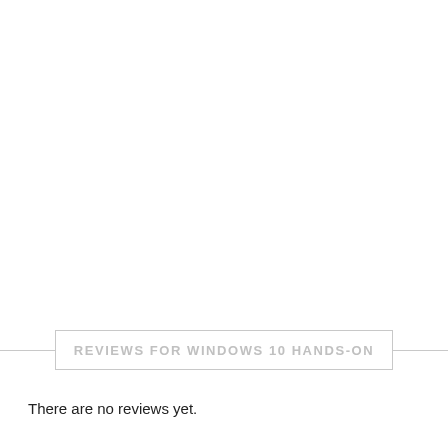REVIEWS FOR WINDOWS 10 HANDS-ON
There are no reviews yet.